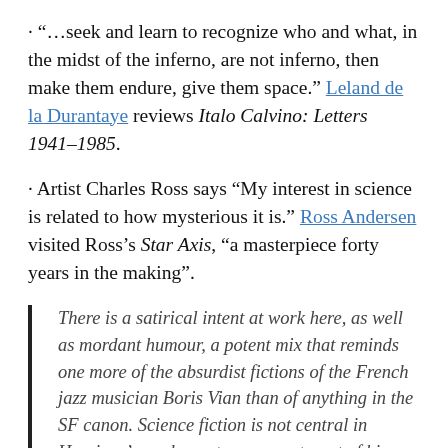· “…seek and learn to recognize who and what, in the midst of the inferno, are not inferno, then make them endure, give them space.” Leland de la Durantaye reviews Italo Calvino: Letters 1941–1985.
· Artist Charles Ross says “My interest in science is related to how mysterious it is.” Ross Andersen visited Ross’s Star Axis, “a masterpiece forty years in the making”.
There is a satirical intent at work here, as well as mordant humour, a potent mix that reminds one more of the absurdist fictions of the French jazz musician Boris Vian than of anything in the SF canon. Science fiction is not central in Harrison’s work – not even as a target of his